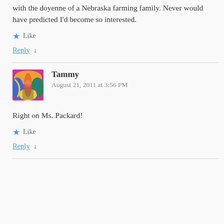with the doyenne of a Nebraska farming family. Never would have predicted I'd become so interested.
★ Like
Reply ↓
Tammy
August 21, 2011 at 3:56 PM
Right on Ms. Packard!
★ Like
Reply ↓